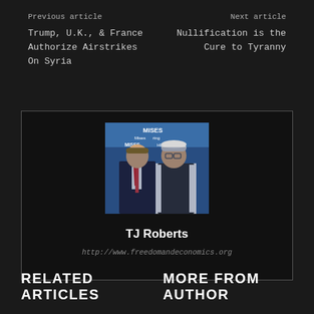Previous article
Next article
Trump, U.K., & France Authorize Airstrikes On Syria
Nullification is the Cure to Tyranny
[Figure (photo): Two men posing in front of a Mises Institute banner backdrop. Left man in dark suit with striped tie, right man in dark vest over white shirt.]
TJ Roberts
http://www.freedomandeconomics.org
RELATED ARTICLES   MORE FROM AUTHOR